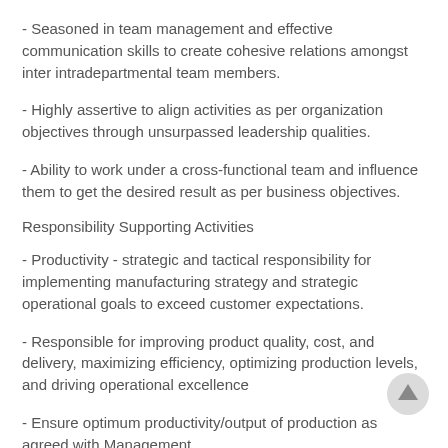- Seasoned in team management and effective communication skills to create cohesive relations amongst inter intradepartmental team members.
- Highly assertive to align activities as per organization objectives through unsurpassed leadership qualities.
- Ability to work under a cross-functional team and influence them to get the desired result as per business objectives.
Responsibility Supporting Activities
- Productivity - strategic and tactical responsibility for implementing manufacturing strategy and strategic operational goals to exceed customer expectations.
- Responsible for improving product quality, cost, and delivery, maximizing efficiency, optimizing production levels, and driving operational excellence
- Ensure optimum productivity/output of production as agreed with Management.